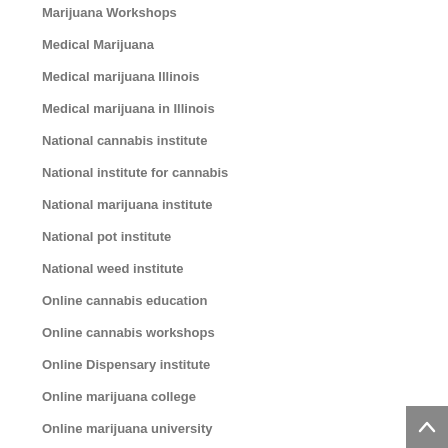Marijuana Workshops
Medical Marijuana
Medical marijuana Illinois
Medical marijuana in Illinois
National cannabis institute
National institute for cannabis
National marijuana institute
National pot institute
National weed institute
Online cannabis education
Online cannabis workshops
Online Dispensary institute
Online marijuana college
Online marijuana university